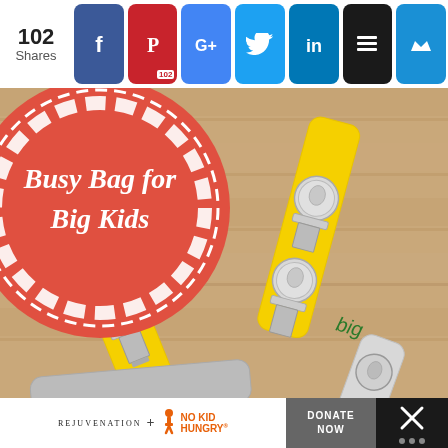102 Shares
[Figure (screenshot): Social share bar with Facebook, Pinterest (102), Google+, Twitter, LinkedIn, Buffer, and Kingged icon buttons]
[Figure (photo): Photo of yellow painted popsicle sticks with coins (quarters/dimes) clipped by metal clothespins on a wooden background. One stick says 'big'. Overlaid with a red circular logo reading 'Busy Bag for Big Kids' in white serif text with a decorative wheel border.]
Busy Bag for Big Kids
[Figure (logo): Rejuvenation + No Kid Hungry partnership ad banner with DONATE NOW button and close X icon]